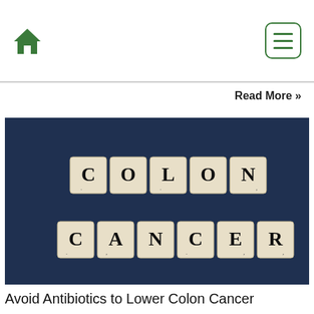Home | Menu
Read More »
[Figure (photo): Scrabble tiles spelling out COLON and CANCER on a dark blue background]
Avoid Antibiotics to Lower Colon Cancer